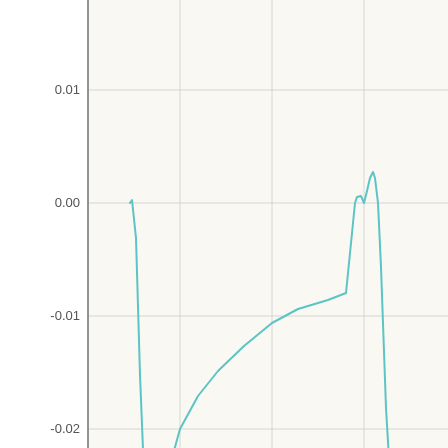[Figure (continuous-plot): Partial line chart showing aerodynamic coefficient (Cm or similar) vs angle of attack for BOEING-VERTOL VR-12 airfoil. Y-axis ranges from -0.04 to 0.01, x-axis shows values from -15.0 to 5.0+. The teal/cyan curve starts near 0.00 at x≈-12, drops sharply to about -0.03 at x≈-11, then rises gradually to about -0.005 at x≈0, peaks near 0.00 at x≈0.5, then drops sharply to about -0.03 at x≈2.5, then rises slightly toward the right edge.]
<< Back to BOEING-VERTOL VR-12 AIRFOI...
Copy... No content or images on t...